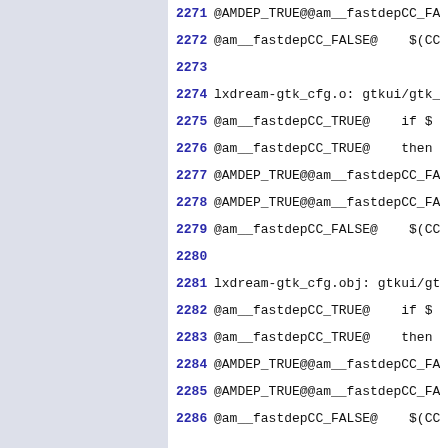2271 @AMDEP_TRUE@@am__fastdepCC_FA
2272 @am__fastdepCC_FALSE@    $(CC
2273
2274 lxdream-gtk_cfg.o: gtkui/gtk_
2275 @am__fastdepCC_TRUE@    if $
2276 @am__fastdepCC_TRUE@    then
2277 @AMDEP_TRUE@@am__fastdepCC_FA
2278 @AMDEP_TRUE@@am__fastdepCC_FA
2279 @am__fastdepCC_FALSE@    $(CC
2280
2281 lxdream-gtk_cfg.obj: gtkui/gt
2282 @am__fastdepCC_TRUE@    if $
2283 @am__fastdepCC_TRUE@    then
2284 @AMDEP_TRUE@@am__fastdepCC_FA
2285 @AMDEP_TRUE@@am__fastdepCC_FA
2286 @am__fastdepCC_FALSE@    $(CC